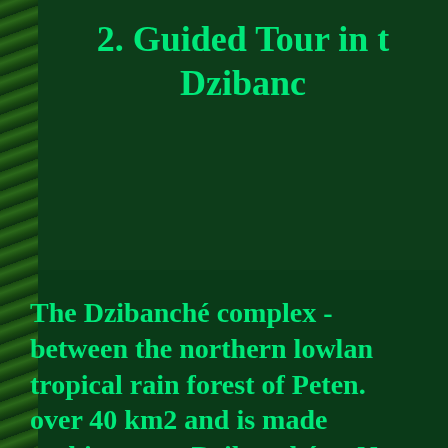2. Guided Tour in t… Dzibanc…
The Dzibanché complex - between the northern lowlands tropical rain forest of Peten. over 40 km2 and is made … architecture: Dzibanché or N… … Coh…